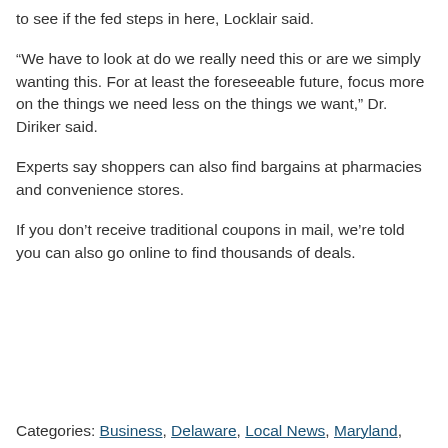to see if the fed steps in here, Locklair said.
“We have to look at do we really need this or are we simply wanting this. For at least the foreseeable future, focus more on the things we need less on the things we want,” Dr. Diriker said.
Experts say shoppers can also find bargains at pharmacies and convenience stores.
If you don’t receive traditional coupons in mail, we’re told you can also go online to find thousands of deals.
Categories: Business, Delaware, Local News, Maryland,